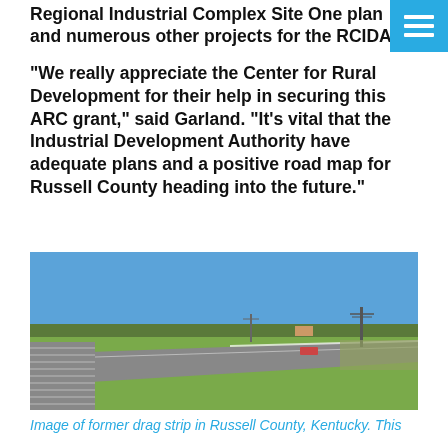Regional Industrial Complex Site One plan and numerous other projects for the RCIDA.
“We really appreciate the Center for Rural Development for their help in securing this ARC grant,” said Garland. “It’s vital that the Industrial Development Authority have adequate plans and a positive road map for Russell County heading into the future.”
[Figure (photo): Aerial view of a former drag strip in Russell County, Kentucky. The image shows bleachers on the left side, a long straight track, green fields, trees in the background, and utility poles. Clear blue sky above.]
Image of former drag strip in Russell County, Kentucky. This